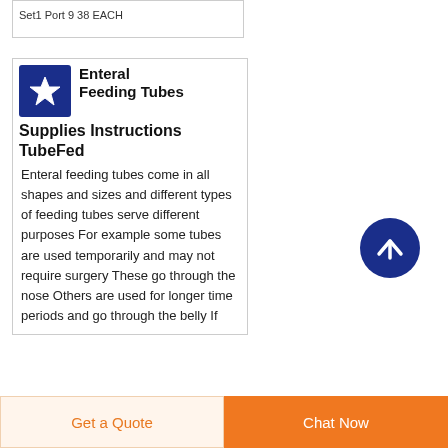Set1 Port 9 38 EACH
Enteral Feeding Tubes Supplies Instructions TubeFed
Enteral feeding tubes come in all shapes and sizes and different types of feeding tubes serve different purposes For example some tubes are used temporarily and may not require surgery These go through the nose Others are used for longer time periods and go through the belly If
Get a Quote
Chat Now